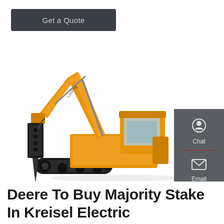Get a Quote
[Figure (photo): Yellow Lonking brand excavator with hydraulic breaker attachment, shown on white background, side view facing right]
[Figure (infographic): Dark grey vertical side panel with three icons and labels: Chat (headset icon), Email (envelope icon), Contact (speech bubble with dots icon), separated by red horizontal dividers]
Deere To Buy Majority Stake In Kreisel Electric